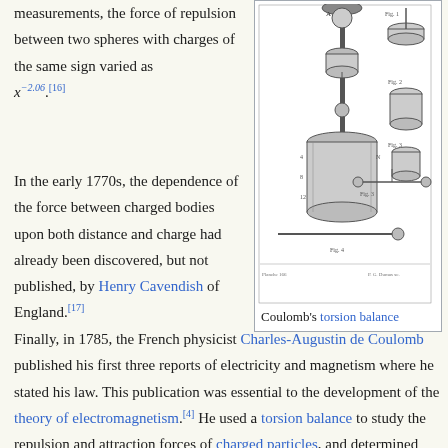measurements, the force of repulsion between two spheres with charges of the same sign varied as x^{-2.06}.[16]
[Figure (illustration): Engraving of Coulomb's torsion balance apparatus, showing various components including the main cylindrical chamber with a vertical rod, suspended sphere, and separate component diagrams labeled Fig. 1 through Fig. 4.]
Coulomb's torsion balance
In the early 1770s, the dependence of the force between charged bodies upon both distance and charge had already been discovered, but not published, by Henry Cavendish of England.[17]
Finally, in 1785, the French physicist Charles-Augustin de Coulomb published his first three reports of electricity and magnetism where he stated his law. This publication was essential to the development of the theory of electromagnetism.[4] He used a torsion balance to study the repulsion and attraction forces of charged particles, and determined that